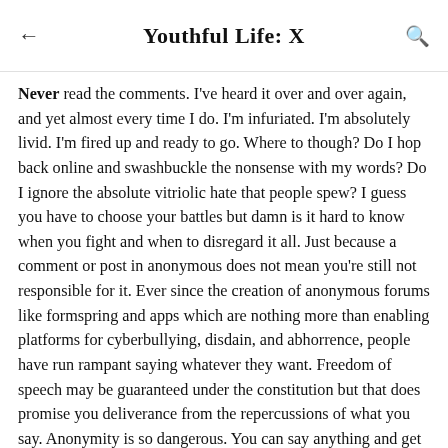Youthful Life: X
Never read the comments. I've heard it over and over again, and yet almost every time I do. I'm infuriated. I'm absolutely livid. I'm fired up and ready to go. Where to though? Do I hop back online and swashbuckle the nonsense with my words? Do I ignore the absolute vitriolic hate that people spew? I guess you have to choose your battles but damn is it hard to know when you fight and when to disregard it all. Just because a comment or post in anonymous does not mean you're still not responsible for it. Ever since the creation of anonymous forums like formspring and apps which are nothing more than enabling platforms for cyberbullying, disdain, and abhorrence, people have run rampant saying whatever they want. Freedom of speech may be guaranteed under the constitution but that does promise you deliverance from the repercussions of what you say. Anonymity is so dangerous. You can say anything and get